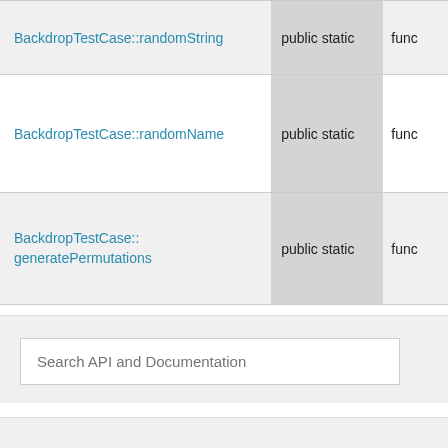| Name | Modifier | Type |
| --- | --- | --- |
| BackdropTestCase::randomString | public static | func |
| BackdropTestCase::randomName | public static | func |
| BackdropTestCase::generatePermutations | public static | func |
Search API and Documentation